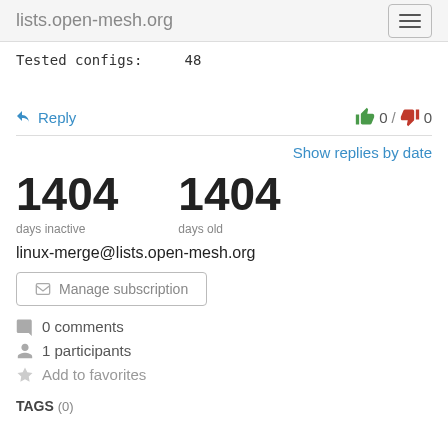lists.open-mesh.org
Tested configs:    48
Reply   0 / 0
Show replies by date
1404 days inactive
1404 days old
linux-merge@lists.open-mesh.org
Manage subscription
0 comments
1 participants
Add to favorites
TAGS (0)